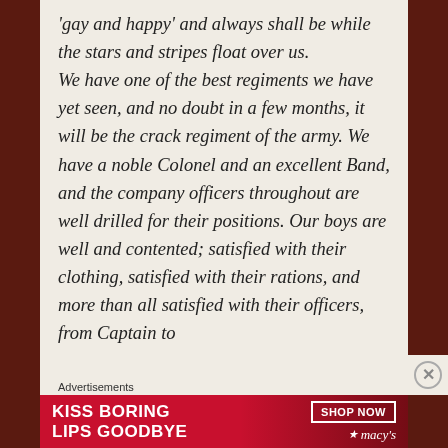'gay and happy' and always shall be while the stars and stripes float over us.

We have one of the best regiments we have yet seen, and no doubt in a few months, it will be the crack regiment of the army. We have a noble Colonel and an excellent Band, and the company officers throughout are well drilled for their positions. Our boys are well and contented; satisfied with their clothing, satisfied with their rations, and more than all satisfied with their officers, from Captain to
Advertisements
[Figure (infographic): Macy's advertisement banner: red background with white text 'KISS BORING LIPS GOODBYE', a 'SHOP NOW' button with border, and Macy's star logo. Background shows partial face with red lips.]